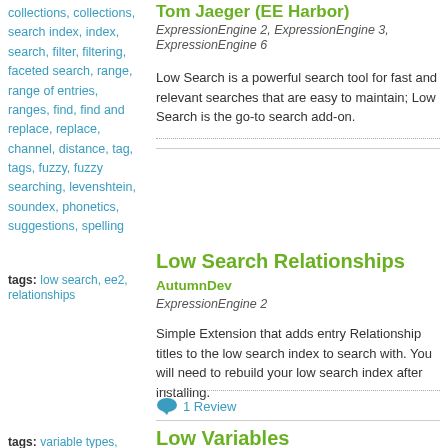collections, collections, search index, index, search, filter, filtering, faceted search, range, range of entries, ranges, find, find and replace, replace, channel, distance, tag, tags, fuzzy, fuzzy searching, levenshtein, soundex, phonetics, suggestions, spelling
Tom Jaeger (EE Harbor)
ExpressionEngine 2, ExpressionEngine 3, ExpressionEngine 6
Low Search is a powerful search tool for fast and relevant searches that are easy to maintain; Low Search is the go-to search add-on.
tags: low search, ee2, relationships
Low Search Relationships
AutumnDev
ExpressionEngine 2
Simple Extension that adds entry Relationship titles to the low search index to search with. You will need to rebuild your low search index after installing.
1 Review
tags: variable types, user defined global variables
Low Variables
Tom Jaeger (EE Harbor)